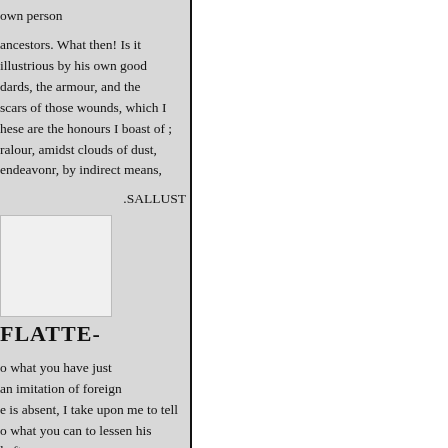own person
ancestors. What then! Is it illustrious by his own good dards, the armour, and the scars of those wounds, which I hese are the honours I boast of ; ralour, amidst clouds of dust, endeavonr, by indirect means,
.SALLUST
[Figure (other): Small rectangular image placeholder, light gray background]
FLATTE-
o what you have just an imitation of foreign e is absent, I take upon me to tell o what you can to lessen his l after
» السايقة